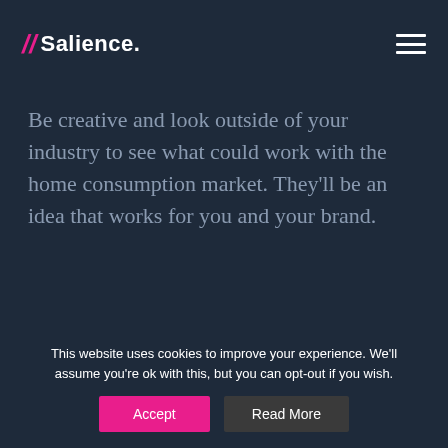Salience.
Be creative and look outside of your industry to see what could work with the home consumption market. They'll be an idea that works for you and your brand.
Internal Linking for Big Results
We've written a big guide on internal linking and...
This website uses cookies to improve your experience. We'll assume you're ok with this, but you can opt-out if you wish.